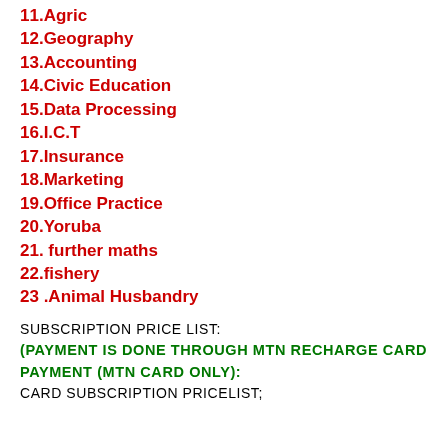11.Agric
12.Geography
13.Accounting
14.Civic Education
15.Data Processing
16.I.C.T
17.Insurance
18.Marketing
19.Office Practice
20.Yoruba
21. further maths
22.fishery
23 .Animal Husbandry
SUBSCRIPTION PRICE LIST:
(PAYMENT IS DONE THROUGH MTN RECHARGE CARD PAYMENT (MTN CARD ONLY):
CARD SUBSCRIPTION PRICELIST;